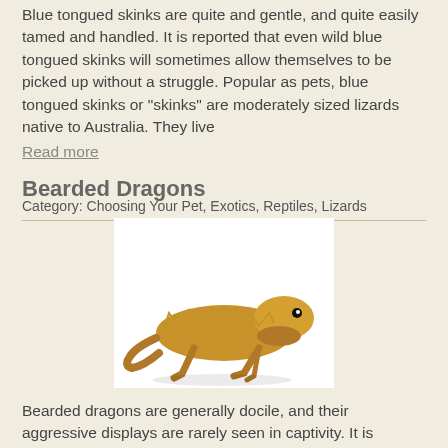Blue tongued skinks are quite and gentle, and quite easily tamed and handled. It is reported that even wild blue tongued skinks will sometimes allow themselves to be picked up without a struggle. Popular as pets, blue tongued skinks or "skinks" are moderately sized lizards native to Australia. They live
Read more
Bearded Dragons
Category: Choosing Your Pet, Exotics, Reptiles, Lizards
[Figure (photo): A bearded dragon lizard on a white background, shown from the side with a golden-brown color.]
Bearded dragons are generally docile, and their aggressive displays are rarely seen in captivity. It is reported that even wild bearded dragons will sometimes allow themselves to be picked up without a struggle. Popular as pets, bearded dragons or "beardies" are moderat [Accessibility View] o Australia.